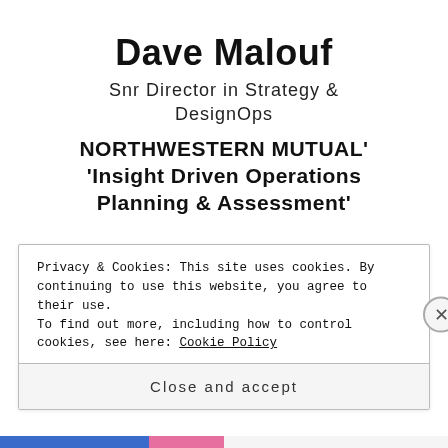Dave Malouf
Snr Director in Strategy & DesignOps
NORTHWESTERN MUTUAL' 'Insight Driven Operations Planning & Assessment'
Privacy & Cookies: This site uses cookies. By continuing to use this website, you agree to their use.
To find out more, including how to control cookies, see here: Cookie Policy
Close and accept